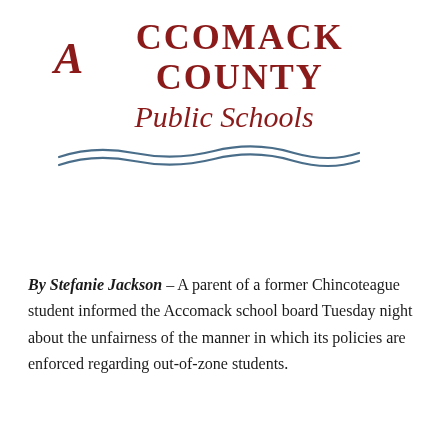[Figure (logo): Accomack County Public Schools logo with stylized A, bold uppercase text 'ACCOMACK COUNTY', italic text 'Public Schools', and decorative wave lines underneath, all in dark red/maroon color]
By Stefanie Jackson – A parent of a former Chincoteague student informed the Accomack school board Tuesday night about the unfairness of the manner in which its policies are enforced regarding out-of-zone students.